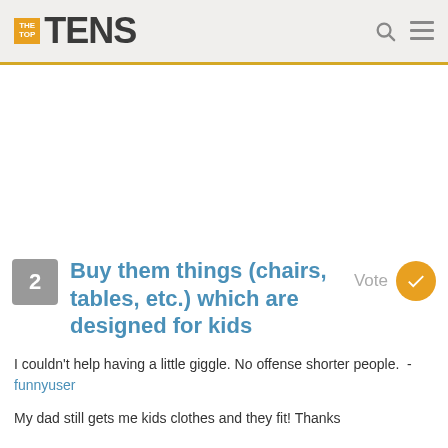THE TOP TENS
[Figure (other): Advertisement / blank ad area]
2 Buy them things (chairs, tables, etc.) which are designed for kids
I couldn't help having a little giggle. No offense shorter people. - funnyuser
My dad still gets me kids clothes and they fit! Thanks